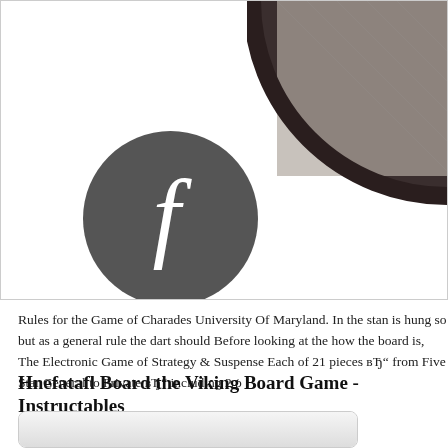[Figure (photo): Top portion of the page showing a circular embroidered patch (dark grey with a symbol) on the right side, and a dark grey circular Facebook logo icon on the left side, all within a bordered image frame.]
Rules for the Game of Charades University Of Maryland. In the stan is hung so but as a general rule the dart should Before looking at the how the board is, The Electronic Game of Strategy & Suspense Each of 21 pieces вЂ" from Five Star General to Private вЂ" including 2 p
Hnefatafl Board the Viking Board Game - Instructables
[Figure (photo): Partial view of what appears to be a board game or similar flat object, cropped at the bottom of the page.]